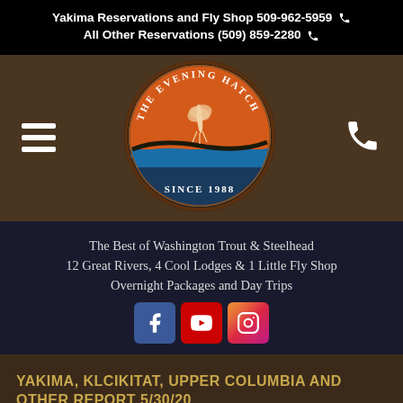Yakima Reservations and Fly Shop 509-962-5959
All Other Reservations (509) 859-2280
[Figure (logo): The Evening Hatch oval logo with orange background, fly fishing mayfly illustration, blue river water, brown border, text 'THE EVENING HATCH' and 'SINCE 1988']
The Best of Washington Trout & Steelhead
12 Great Rivers, 4 Cool Lodges & 1 Little Fly Shop
Overnight Packages and Day Trips
[Figure (infographic): Facebook, YouTube, and Instagram social media icons]
YAKIMA, KLCIKITAT, UPPER COLUMBIA AND OTHER REPORT 5/30/20
May 30, 2020